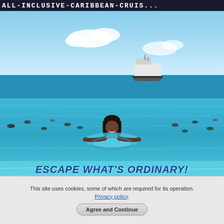ALL-INCLUSIVE-CARIBBEAN-CRUIS...
[Figure (photo): Caribbean ocean scene with people swimming in turquoise water, a cruise ship visible in the background, and a young woman in the foreground wearing a blue swimsuit]
ESCAPE WHAT'S ORDINARY!
Submit A C... Re...
This site uses cookies, some of which are required for its operation. Privacy policy. Agree and Continue